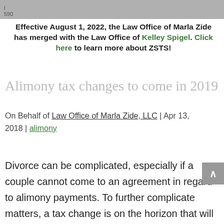l 590
Effective August 1, 2022, the Law Office of Marla Zide has merged with the Law Office of Kelley Spigel. Click here to learn more about ZSTS!
Alimony tax changes to come in 2019
On Behalf of Law Office of Marla Zide, LLC | Apr 13, 2018 | alimony
Divorce can be complicated, especially if a couple cannot come to an agreement in regard to alimony payments. To further complicate matters, a tax change is on the horizon that will potentially cause drawn-out divorces and